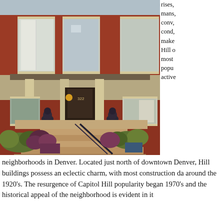[Figure (photo): Photograph of a historic red brick Victorian-style building in Capitol Hill, Denver. The building features a large covered front porch with columns, decorative lion statues on the porch steps, iron railings, multiple tall windows with cream trim, and lush landscaping with shrubs and flower planters.]
rises, mans, conv, cond, make Hill o most popu active
neighborhoods in Denver. Located just north of downtown Denver, Hill buildings possess an eclectic charm, with most construction da around the 1920's. The resurgence of Capitol Hill popularity began 1970's and the historical appeal of the neighborhood is evident in it